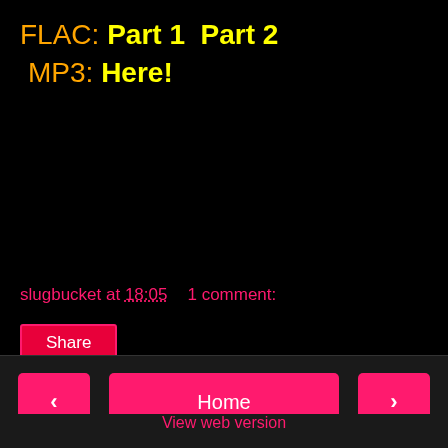FLAC: Part 1  Part 2
MP3: Here!
slugbucket at 18:05    1 comment:
Share
< Home >
View web version